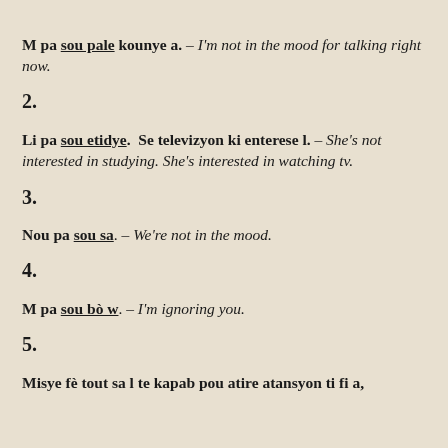M pa sou pale kounye a. – I'm not in the mood for talking right now.
2.
Li pa sou etidye. Se televizyon ki enterese l. – She's not interested in studying. She's interested in watching tv.
3.
Nou pa sou sa. – We're not in the mood.
4.
M pa sou bò w. – I'm ignoring you.
5.
Misye fè tout sa l te kapab pou atire atansyon ti fi a,